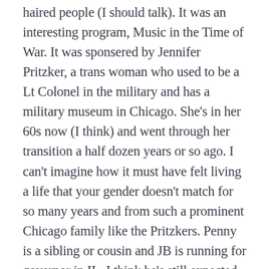haired people (I should talk). It was an interesting program, Music in the Time of War. It was sponsered by Jennifer Pritzker, a trans woman who used to be a Lt Colonel in the military and has a military museum in Chicago. She's in her 60s now (I think) and went through her transition a half dozen years or so ago. I can't imagine how it must have felt living a life that your gender doesn't match for so many years and from such a prominent Chicago family like the Pritzkers. Penny is a sibling or cousin and JB is running for governor in IL. I think he's still expected to win (Dem). Although I've been away for a few weeks, so who